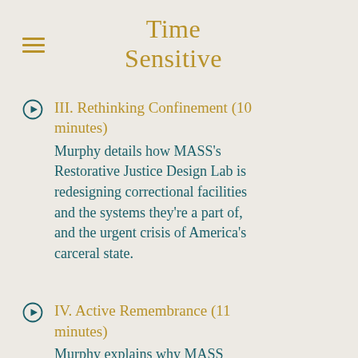Time Sensitive
III. Rethinking Confinement (10 minutes)
Murphy details how MASS’s Restorative Justice Design Lab is redesigning correctional facilities and the systems they’re a part of, and the urgent crisis of America’s carceral state.
IV. Active Remembrance (11 minutes)
Murphy explains why MASS